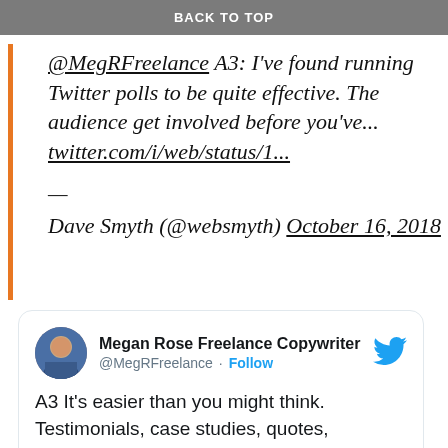BACK TO TOP
@MegRFreelance A3: I've found running Twitter polls to be quite effective. The audience get involved before you've... twitter.com/i/web/status/1...
— Dave Smyth (@websmyth) October 16, 2018
[Figure (screenshot): Embedded tweet from Megan Rose Freelance Copywriter (@MegRFreelance) with Follow button and Twitter bird logo. Tweet text: A3 It's easier than you might think. Testimonials, case studies, quotes, competition entries, Instagram challenges, guest blog spots, Twitter chats to name a few. I fall into...]